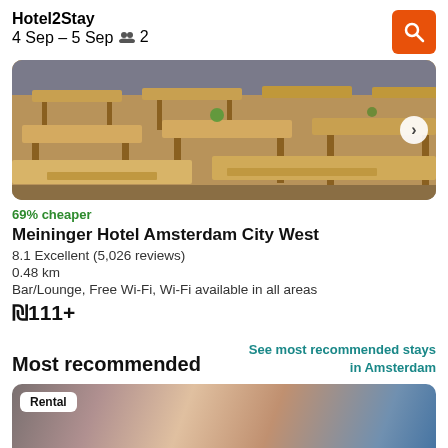Hotel2Stay
4 Sep – 5 Sep   👥 2
[Figure (photo): Interior photo of a restaurant or hotel dining area with long wooden tables and benches, viewed from an angle. Plants as decorations on the tables.]
69% cheaper
Meininger Hotel Amsterdam City West
8.1 Excellent (5,026 reviews)
0.48 km
Bar/Lounge, Free Wi-Fi, Wi-Fi available in all areas
₪111+
Most recommended
See most recommended stays in Amsterdam
[Figure (photo): A close-up photo of a smiling woman with sunglasses, with people in the background at what appears to be an outdoor event. A 'Rental' badge overlays the top-left.]